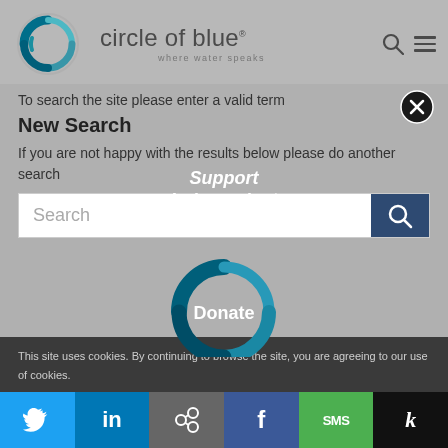[Figure (logo): Circle of Blue website header with circular blue logo, site name 'circle of blue', tagline 'where water speaks', search icon, and hamburger menu]
To search the site please enter a valid term
New Search
If you are not happy with the results below please do another search
[Figure (infographic): Search bar UI element with white input field labeled 'Search' and dark blue search button with magnifying glass icon]
[Figure (infographic): Donate overlay with circular blue logo and text 'Support Independent Journalism' and 'Donate' button]
You have the power to inform
This site uses cookies. By continuing to browse the site, you are agreeing to our use of cookies.
[Figure (infographic): Social sharing bar with Twitter, LinkedIn, Link, Facebook, SMS, and Klout buttons]